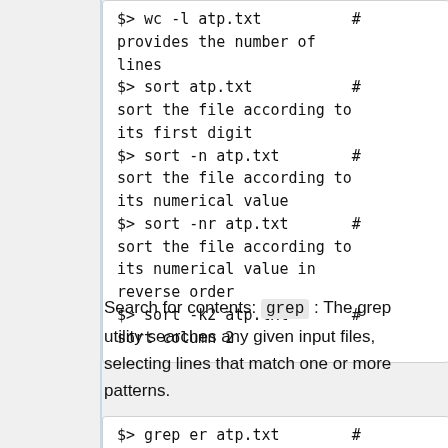$> wc -l atp.txt          # provides the number of lines
$> sort atp.txt           # sort the file according to its first digit
$> sort -n atp.txt        # sort the file according to its numerical value
$> sort -nr atp.txt       # sort the file according to its numerical value in reverse order
$> sort -k2 atp.txt       # sort column 2
Search for contents: grep : The grep utility searches any given input files, selecting lines that match one or more patterns.
$> grep er atp.txt        # Select lines matching with